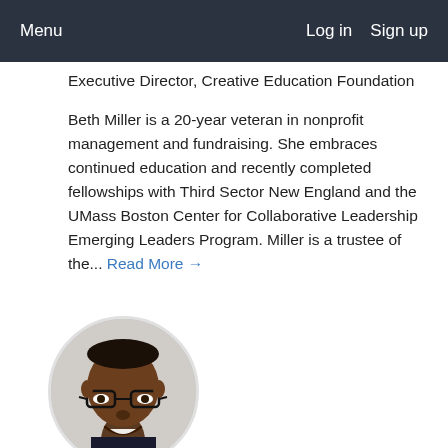Menu   Log in   Sign up
Executive Director, Creative Education Foundation
Beth Miller is a 20-year veteran in nonprofit management and fundraising. She embraces continued education and recently completed fellowships with Third Sector New England and the UMass Boston Center for Collaborative Leadership Emerging Leaders Program. Miller is a trustee of the... Read More →
[Figure (photo): Circular headshot photo of a smiling Black man wearing glasses and a dark suit jacket]